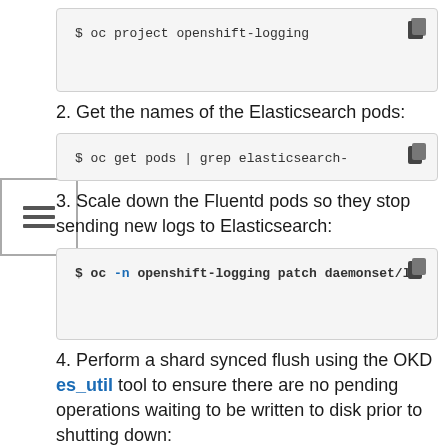[Figure (screenshot): Code box showing partial command: $ oc project openshift-logging]
2. Get the names of the Elasticsearch pods:
[Figure (screenshot): Code box showing: $ oc get pods | grep elasticsearch-]
3. Scale down the Fluentd pods so they stop sending new logs to Elasticsearch:
[Figure (screenshot): Code box showing: $ oc -n openshift-logging patch daemonset/lo]
4. Perform a shard synced flush using the OKD es_util tool to ensure there are no pending operations waiting to be written to disk prior to shutting down: